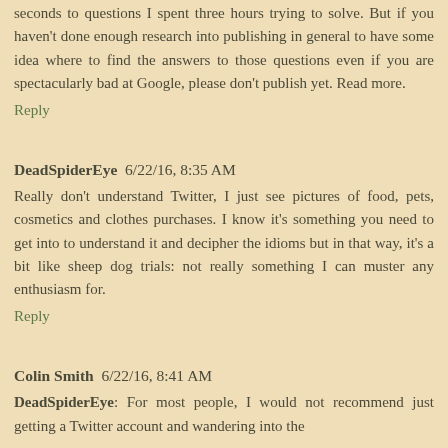seconds to questions I spent three hours trying to solve. But if you haven't done enough research into publishing in general to have some idea where to find the answers to those questions even if you are spectacularly bad at Google, please don't publish yet. Read more.
Reply
DeadSpiderEye 6/22/16, 8:35 AM
Really don't understand Twitter, I just see pictures of food, pets, cosmetics and clothes purchases. I know it's something you need to get into to understand it and decipher the idioms but in that way, it's a bit like sheep dog trials: not really something I can muster any enthusiasm for.
Reply
Colin Smith 6/22/16, 8:41 AM
DeadSpiderEye: For most people, I would not recommend just getting a Twitter account and wandering into the